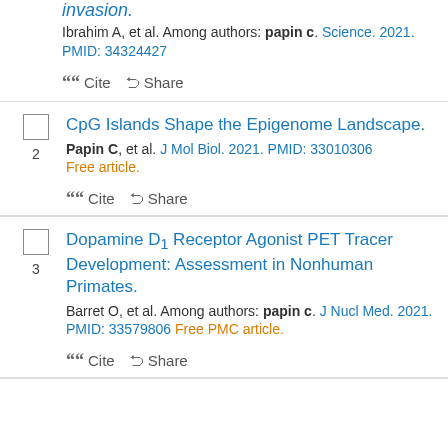invasion.
Ibrahim A, et al. Among authors: papin c. Science. 2021. PMID: 34324427
" Cite < Share
CpG Islands Shape the Epigenome Landscape.
Papin C, et al. J Mol Biol. 2021. PMID: 33010306 Free article.
" Cite < Share
Dopamine D1 Receptor Agonist PET Tracer Development: Assessment in Nonhuman Primates.
Barret O, et al. Among authors: papin c. J Nucl Med. 2021. PMID: 33579806 Free PMC article.
" Cite < Share